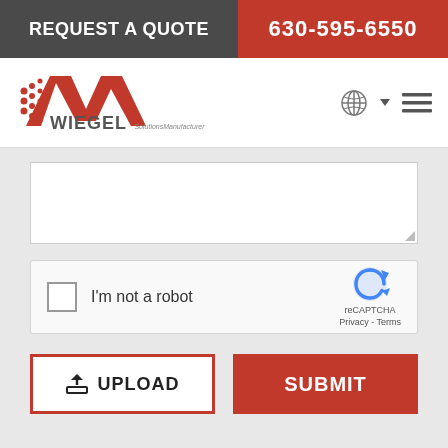REQUEST A QUOTE | 630-595-6550
[Figure (logo): Wiegel Solutions Manufacturer logo with red stylized W and speed lines]
[Figure (screenshot): reCAPTCHA widget with checkbox labeled I'm not a robot]
I'm not a robot
reCAPTCHA
Privacy - Terms
UPLOAD
SUBMIT